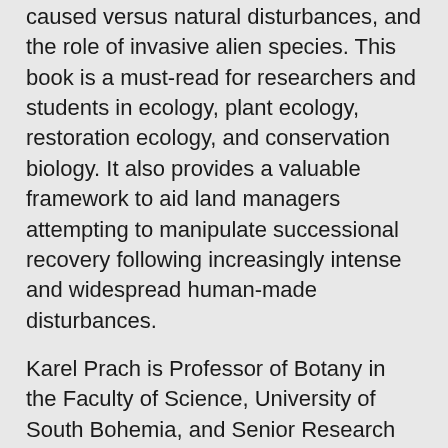caused versus natural disturbances, and the role of invasive alien species. This book is a must-read for researchers and students in ecology, plant ecology, restoration ecology, and conservation biology. It also provides a valuable framework to aid land managers attempting to manipulate successional recovery following increasingly intense and widespread human-made disturbances.
Karel Prach is Professor of Botany in the Faculty of Science, University of South Bohemia, and Senior Research Scientist at the Institute of Botany, Czech Academy of Science, Czech Republic. He has published extensively in the areas of succession, restoration, river floodplains, and ecology of alien plants. He is the current president of the Czech Botanical Society.
Lawrence R. Walker is Professor Emeritus in the School of Life Sciences, University of Nevada, Las